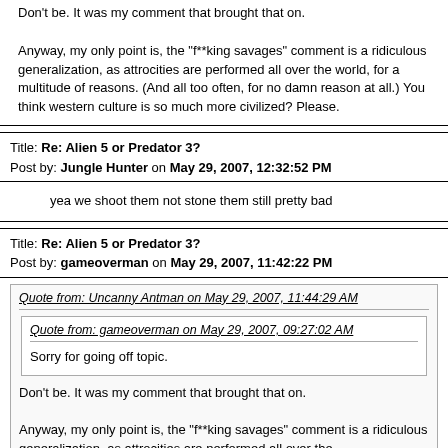Don't be.  It was my comment that brought that on.

Anyway, my only point is, the "f**king savages" comment is a ridiculous generalization, as attrocities are performed all over the world, for a multitude of reasons. (And all too often, for no damn reason at all.)  You think western culture is so much more civilized?  Please.
Title: Re: Alien 5 or Predator 3?
Post by: Jungle Hunter on May 29, 2007, 12:32:52 PM
yea we shoot them not stone them still pretty bad
Title: Re: Alien 5 or Predator 3?
Post by: gameoverman on May 29, 2007, 11:42:22 PM
Quote from: Uncanny Antman on May 29, 2007, 11:44:29 AM
Quote from: gameoverman on May 29, 2007, 09:27:02 AM
Sorry for going off topic.
Don't be.  It was my comment that brought that on.
Anyway, my only point is, the "f**king savages" comment is a ridiculous generalization, as attrocities are performed all over the